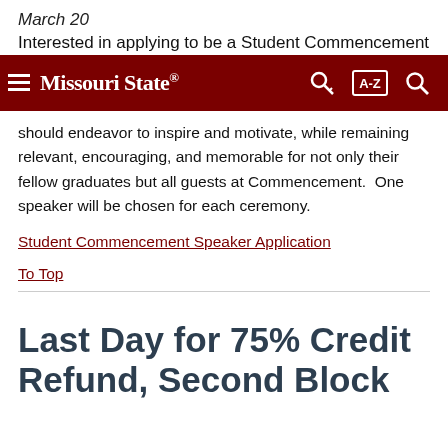March 20
Interested in applying to be a Student Commencement
[Figure (screenshot): Missouri State University navigation bar with dark red background, hamburger menu icon, Missouri State logo, key icon, A-Z index button, and search icon]
should endeavor to inspire and motivate, while remaining relevant, encouraging, and memorable for not only their fellow graduates but all guests at Commencement.  One speaker will be chosen for each ceremony.
Student Commencement Speaker Application
To Top
Last Day for 75% Credit Refund, Second Block